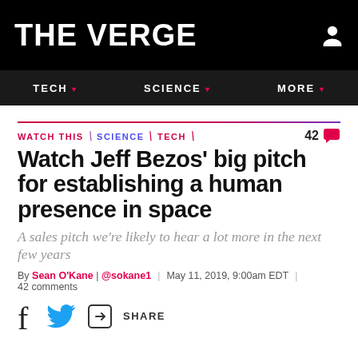THE VERGE
TECH  SCIENCE  MORE
WATCH THIS  SCIENCE  TECH  42 comments
Watch Jeff Bezos' big pitch for establishing a human presence in space
A sales pitch we're likely to hear a lot more in the next few years
By Sean O'Kane | @sokane1 | May 11, 2019, 9:00am EDT | 42 comments
SHARE